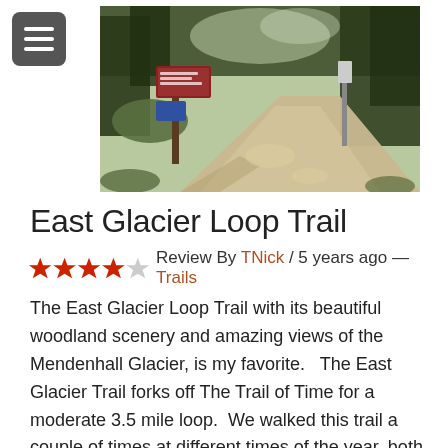[Figure (photo): Trailhead photo of the East Glacier Loop Trail showing a dirt path through woodland with mossy rocks, bare trees, and a trail sign post on the left side.]
East Glacier Loop Trail
★★★★☆ Review By TNick / 5 years ago — Trails
The East Glacier Loop Trail with its beautiful woodland scenery and amazing views of the Mendenhall Glacier, is my favorite.   The East Glacier Trail forks off The Trail of Time for a moderate 3.5 mile loop.  We walked this trail a couple of times at different times of the year, both times starting at […]